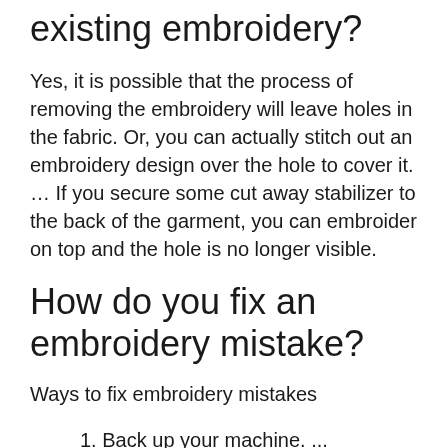existing embroidery?
Yes, it is possible that the process of removing the embroidery will leave holes in the fabric. Or, you can actually stitch out an embroidery design over the hole to cover it. … If you secure some cut away stabilizer to the back of the garment, you can embroider on top and the hole is no longer visible.
How do you fix an embroidery mistake?
Ways to fix embroidery mistakes
1. Back up your machine. ...
2. Rip out your stitches. ...
3. Cover the embroidery mistake with a